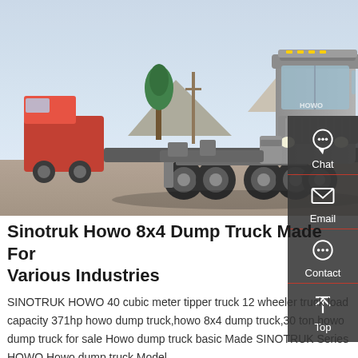[Figure (photo): A silver Sinotruk HOWO heavy-duty tractor/dump truck parked outdoors on a gravel lot with mountains and a tree in the background. A red truck is also visible on the left side.]
Sinotruk Howo 8x4 Dump Truck Made For Various Industries
SINOTRUK HOWO 40 cubic meter tipper truck 12 wheeler truck load capacity 371hp howo dump truck,howo 8x4 dump truck,30 ton howo dump truck for sale Howo dump truck basic Made SINOTRUK Series HOWO Howo dump truck Model